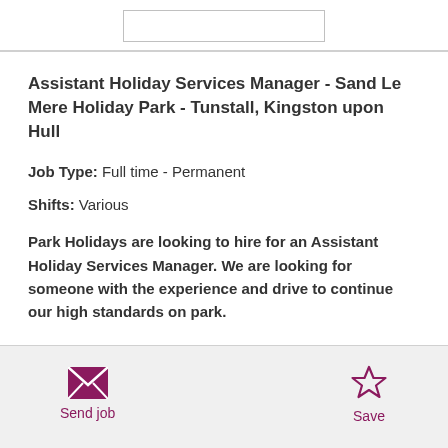Assistant Holiday Services Manager - Sand Le Mere Holiday Park - Tunstall, Kingston upon Hull
Job Type: Full time - Permanent
Shifts: Various
Park Holidays are looking to hire for an Assistant Holiday Services Manager. We are looking for someone with the experience and drive to continue our high standards on park.
Send job
Save